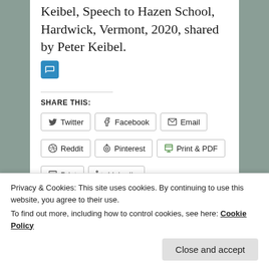Keibel, Speech to Hazen School, Hardwick, Vermont, 2020, shared by Peter Keibel.
SHARE THIS:
Twitter  Facebook  Email  Reddit  Pinterest  Print & PDF  Print  LinkedIn
Privacy & Cookies: This site uses cookies. By continuing to use this website, you agree to their use.
To find out more, including how to control cookies, see here: Cookie Policy
Close and accept